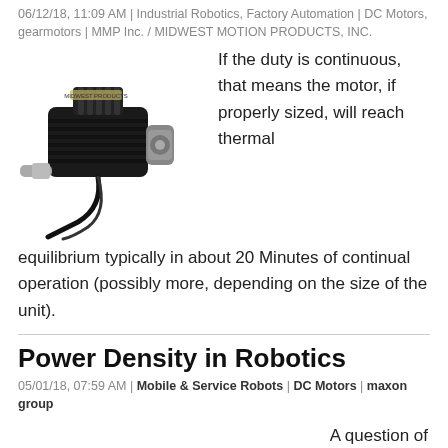06/12/18, 11:09 AM | Industrial Robotics, Factory Automation | DC Motors, gearmotors | MMP Inc. / MIDWEST MOTION PRODUCTS, INC.
[Figure (photo): Photo of a DC gearmotor with a black body, silver shaft, and cable attached]
If the duty is continuous, that means the motor, if properly sized, will reach thermal equilibrium typically in about 20 Minutes of continual operation (possibly more, depending on the size of the unit).
Power Density in Robotics
05/01/18, 07:59 AM | Mobile & Service Robots | DC Motors | maxon group
A question of torque - Inspection robots for pipes